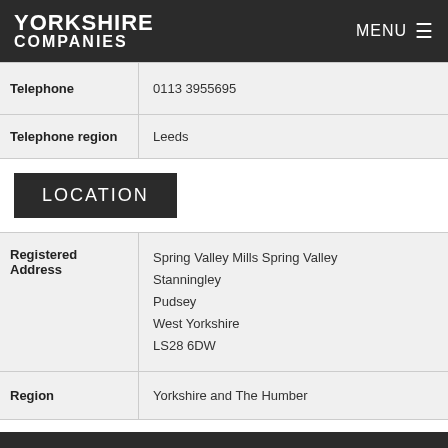YORKSHIRE COMPANIES | MENU
| Field | Value |
| --- | --- |
| Telephone | 0113 3955695 |
| Telephone region | Leeds |
LOCATION
| Field | Value |
| --- | --- |
| Registered Address | Spring Valley Mills Spring Valley
Stanningley
Pudsey
West Yorkshire
LS28 6DW |
| Region | Yorkshire and The Humber |